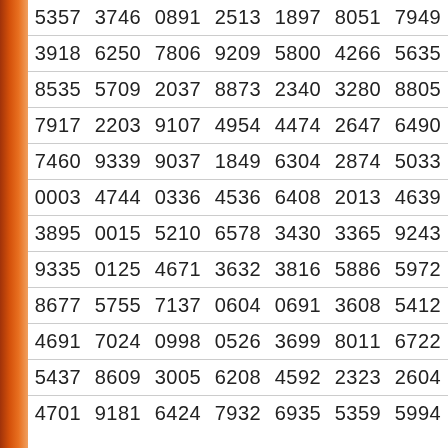| 5357 | 3746 | 0891 | 2513 | 1897 | 8051 | 7949 |
| 3918 | 6250 | 7806 | 9209 | 5800 | 4266 | 5635 |
| 8535 | 5709 | 2037 | 8873 | 2340 | 3280 | 8805 |
| 7917 | 2203 | 9107 | 4954 | 4474 | 2647 | 6490 |
| 7460 | 9339 | 9037 | 1849 | 6304 | 2874 | 5033 |
| 0003 | 4744 | 0336 | 4536 | 6408 | 2013 | 4639 |
| 3895 | 0015 | 5210 | 6578 | 3430 | 3365 | 9243 |
| 9335 | 0125 | 4671 | 3632 | 3816 | 5886 | 5972 |
| 8677 | 5755 | 7137 | 0604 | 0691 | 3608 | 5412 |
| 4691 | 7024 | 0998 | 0526 | 3699 | 8011 | 6722 |
| 5437 | 8609 | 3005 | 6208 | 4592 | 2323 | 2604 |
| 4701 | 9181 | 6424 | 7932 | 6935 | 5359 | 5994 |